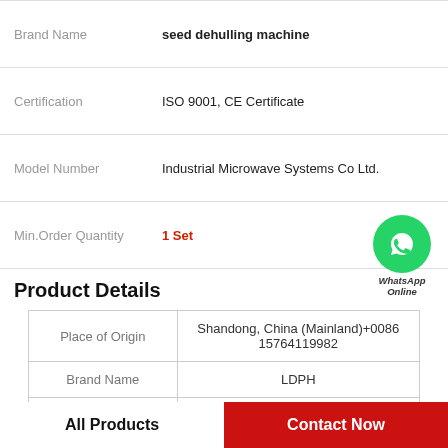| Brand Name |  |
| --- | --- |
| Brand Name | seed dehulling machine |
| Certification | ISO 9001, CE Certificate |
| Model Number | Industrial Microwave Systems Co Ltd. |
| Min.Order Quantity | 1 Set |
Product Details
| Place of Origin | Shandong, China (Mainland)+0086 15764119982 |
| --- | --- |
| Brand Name | LDPH |
| Model Number | 140 |
WhatsApp Online
All Products
Contact Now